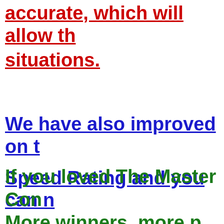accurate, which will allow th situations.
We have also improved on t Speed Rating and you can n top MC horses in this catego
If you loved The Master Con heels
More winners, more p